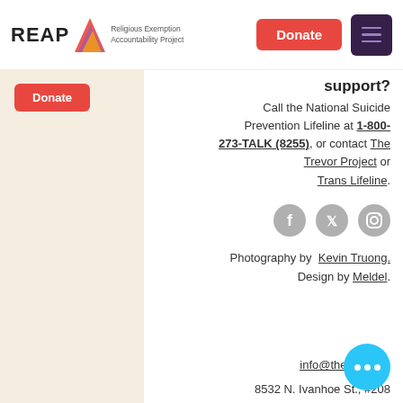REAP Religious Exemption Accountability Project | Donate | Menu
support?
Call the National Suicide Prevention Lifeline at 1-800-273-TALK (8255), or contact The Trevor Project or Trans Lifeline.
[Figure (illustration): Social media icons: Facebook, Twitter, Instagram in grey circles]
Photography by Kevin Truong. Design by Meldel.
info@thereap.org
8532 N. Ivanhoe St., #208 Portland, OR 97203
[Figure (illustration): Cyan chat bubble with three white dots]